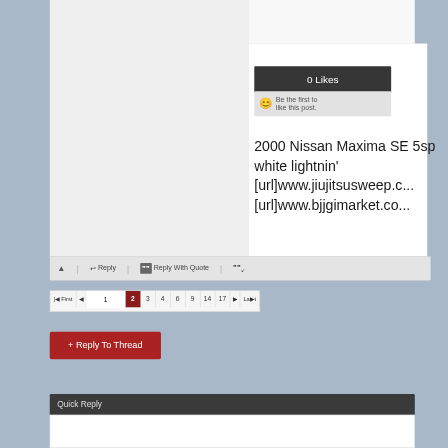[Figure (screenshot): Forum post interface showing 0 Likes button (dark background), 'Be the first to like this post.' with smiley emoji, and post content about 2000 Nissan Maxima SE 5sp white lightnin' with truncated URLs]
0 Likes
Be the first to like this post.
2000 Nissan Maxima SE 5sp white lightnin' [url]www.jiujitsusweep.c... [url]www.bjjgimarket.co...
Reply | Reply With Quote
First ◄  1  2  3  4  6  9  14  17  ► Last
+ Reply To Thread
Quick Reply